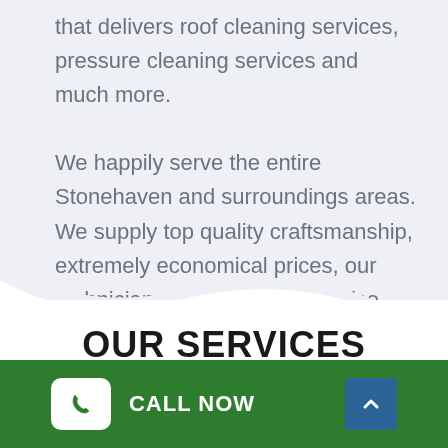that delivers roof cleaning services, pressure cleaning services and much more.
We happily serve the entire Stonehaven and surroundings areas. We supply top quality craftsmanship, extremely economical prices, our technicians are licensed and also fully insured for your protection.
OUR SERVICES
At All Pressure Cleaning, we are totally committed to supplying our clients with top quality expert pressure cleaning support
CALL NOW